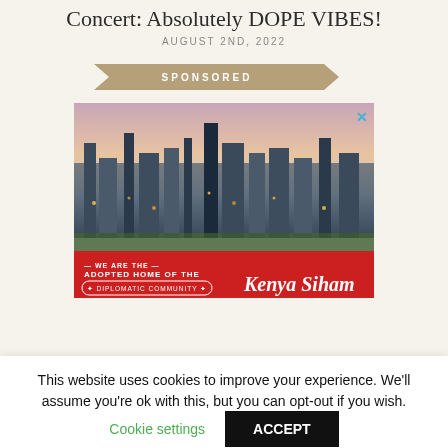Concert: Absolutely DOPE VIBES!
AUGUST 2ND, 2022
[Figure (infographic): Sponsored banner ribbon in tan/khaki color with text SPONSORED in white capital letters]
[Figure (photo): Advertisement image showing aerial view of Nairobi city skyline at dusk with a red banner below reading WE ARE THE ADOPTED HOME OF THE DIPLOMATIC COMMUNITY and Kenya Siham logo]
This website uses cookies to improve your experience. We'll assume you're ok with this, but you can opt-out if you wish.
Cookie settings
ACCEPT